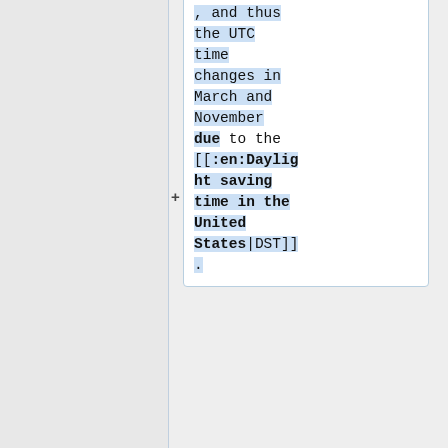, and thus the UTC time changes in March and November due to the [[:en:Daylight saving time in the United States|DST]].
* To add or remove your name from the list, or to schedule a new recurring